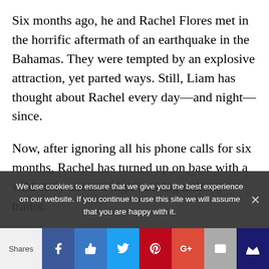Six months ago, he and Rachel Flores met in the horrific aftermath of an earthquake in the Bahamas. They were tempted by an explosive attraction, yet parted ways. Still, Liam has thought about Rachel every day—and night—since.
Now, after ignoring all his phone calls for six months, Rachel has turned up on base with a wild story about a high-ranking military traitor.
We use cookies to ensure that we give you the best experience on our website. If you continue to use this site we will assume that you are happy with it.
Shares [social share buttons: Facebook, Facebook Like, Twitter, Pinterest, Google+, Email, Bookmark]